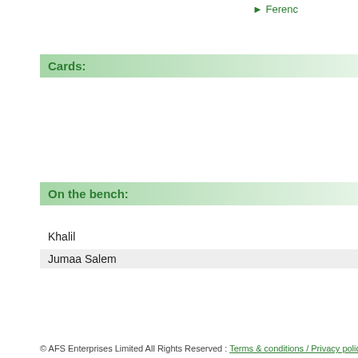▶ Ferenc
Cards:
Cards:
Andras G
On the bench:
On the b
Khalil
Jumaa Salem
Ferenc K
Laszlo C
Jozsef Z
comments
© AFS Enterprises Limited All Rights Reserved : Terms & conditions / Privacy policy